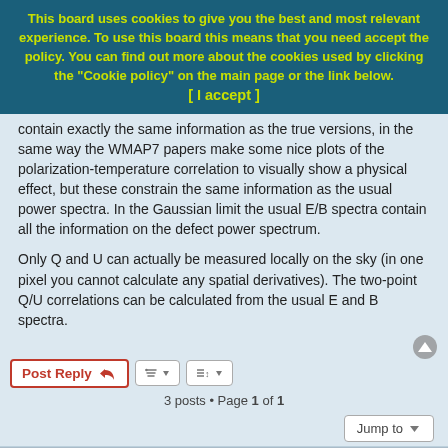This board uses cookies to give you the best and most relevant experience. To use this board this means that you need accept the policy. You can find out more about the cookies used by clicking the "Cookie policy" on the main page or the link below.
[ I accept ]
contain exactly the same information as the true versions, in the same way the WMAP7 papers make some nice plots of the polarization-temperature correlation to visually show a physical effect, but these constrain the same information as the usual power spectra. In the Gaussian limit the usual E/B spectra contain all the information on the defect power spectrum.

Only Q and U can actually be measured locally on the sky (in one pixel you cannot calculate any spatial derivatives). The two-point Q/U correlations can be calculated from the usual E and B spectra.
3 posts • Page 1 of 1
Jump to
Board index   Delete all board cookies   All times are UTC+05:00
Powered by phpBB® Forum Software © phpBB Limited  Sponsored by WordWeb online dictionary and dictionary software.